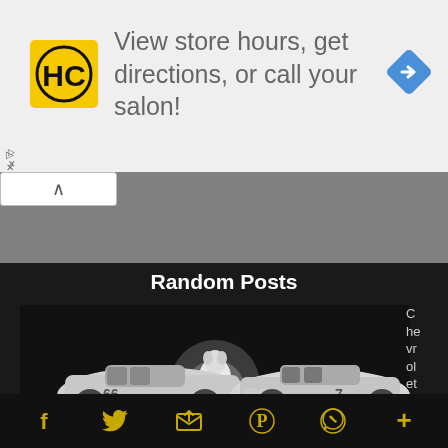[Figure (screenshot): Advertisement banner with HC (HairClub) logo in yellow square, text reading 'View store hours, get directions, or call your salon!' and a blue diamond navigation arrow icon]
[Figure (screenshot): Gray collapsed web panel area with a white collapse/chevron-up button]
Random Posts
[Figure (photo): Black and white photo of two white racing car models (numbered 66 and 7) with a white bear/gummy bear figure between them on a dark surface]
C he vr ol et C ha
[Figure (infographic): Social media sharing toolbar with icons for Facebook, Twitter, email/share, Pinterest, WhatsApp, and a plus button, all in gold/yellow color on dark background]